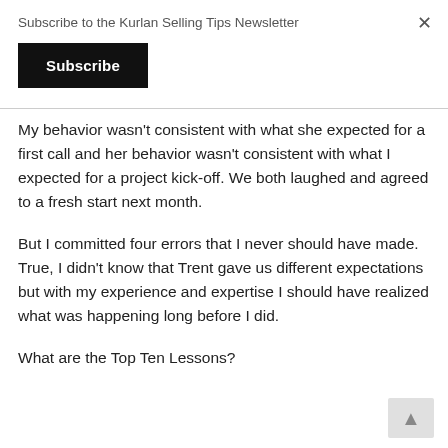Subscribe to the Kurlan Selling Tips Newsletter
Subscribe
×
My behavior wasn't consistent with what she expected for a first call and her behavior wasn't consistent with what I expected for a project kick-off. We both laughed and agreed to a fresh start next month.
But I committed four errors that I never should have made. True, I didn't know that Trent gave us different expectations but with my experience and expertise I should have realized what was happening long before I did.
What are the Top Ten Lessons?